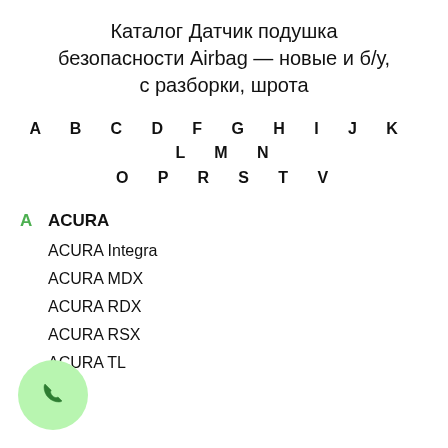Каталог Датчик подушка безопасности Airbag — новые и б/у, с разборки, шрота
A B C D F G H I J K L M N
O P R S T V
A  ACURA
ACURA Integra
ACURA MDX
ACURA RDX
ACURA RSX
ACURA TL